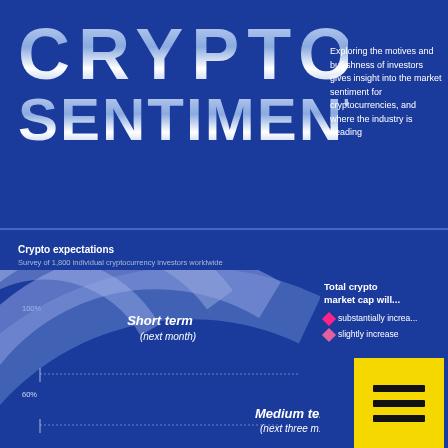CRYPTO SENTIMENT
Exploring the motives and bullishness of investors gives insight into the market sentiment for cryptocurrencies, and where the industry is heading
Crypto expectations
Survey of 1,800 individual cryptocurrency investors worldwide
[Figure (infographic): Partial arc/radial chart showing crypto market cap expectations with 'Short term (next month)' and 'Medium te... (next three m...)' arcs, 100% and 60% scale markers, legend showing 'substantially increase' and 'slightly increase' options, plus a yellow box with hamburger menu icon.]